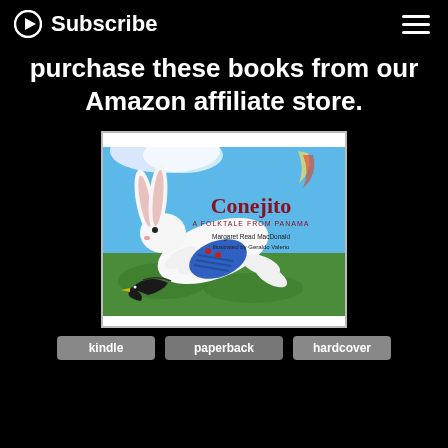Subscribe
purchase these books from our Amazon affiliate store.
[Figure (photo): Book cover of 'Conejito: A Folktale from Panama' by Margaret Read MacDonald, illustrated by Geraldo Valerio. Shows a white rabbit running away from a dark bird on a colorful background of blue sky and green ground.]